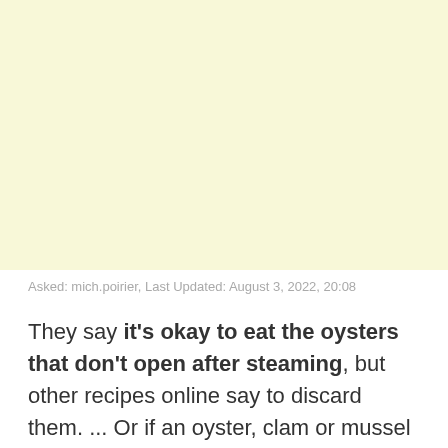[Figure (other): Light yellow/cream colored blank rectangular area occupying the top portion of the page]
Asked: mich.poirier, Last Updated: August 3, 2022, 20:08
They say it's okay to eat the oysters that don't open after steaming, but other recipes online say to discard them. ... Or if an oyster, clam or mussel doesn't open when it's cooked, sometimes it's dead — killed in the cooking process — but the muscle is just so joined to